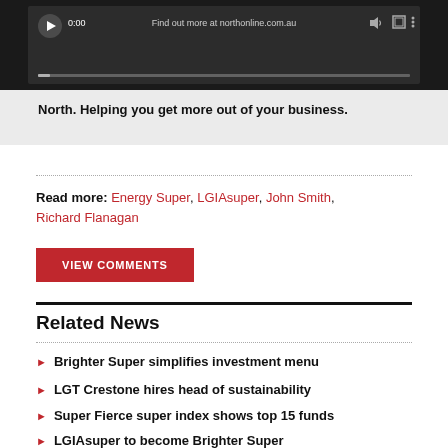[Figure (screenshot): Video player screenshot showing a dark interface with play button, 0:00 timestamp, and 'Find out more at northonline.com.au' overlay text with progress bar]
North. Helping you get more out of your business.
Read more: Energy Super, LGIAsuper, John Smith, Richard Flanagan
VIEW COMMENTS
Related News
Brighter Super simplifies investment menu
LGT Crestone hires head of sustainability
Super Fierce super index shows top 15 funds
LGIAsuper to become Brighter Super